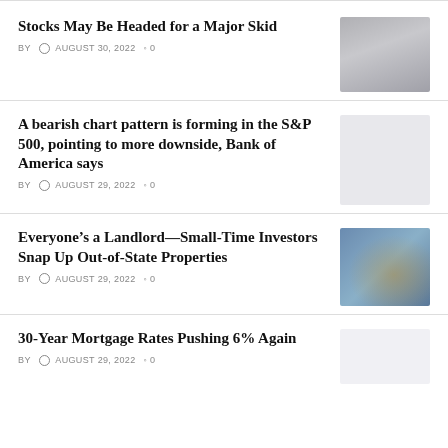Stocks May Be Headed for a Major Skid
BY  AUGUST 30, 2022  0
[Figure (photo): Grayscale city skyline photo]
A bearish chart pattern is forming in the S&P 500, pointing to more downside, Bank of America says
BY  AUGUST 29, 2022  0
[Figure (photo): Light gray placeholder image]
Everyone's a Landlord—Small-Time Investors Snap Up Out-of-State Properties
BY  AUGUST 29, 2022  0
[Figure (photo): Blue-toned photo with bokeh lights]
30-Year Mortgage Rates Pushing 6% Again
BY  AUGUST 29, 2022  0